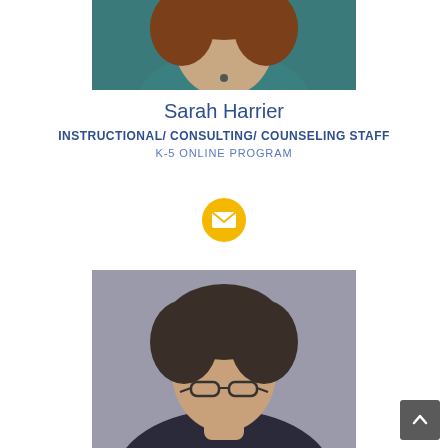[Figure (photo): Portrait photo of Sarah Harrier, partially cropped at top, showing shoulders and face with teal/green top]
Sarah Harrier
INSTRUCTIONAL/ CONSULTING/ COUNSELING STAFF
K-5 ONLINE PROGRAM
[Figure (other): Yellow circular email icon button]
[Figure (photo): Portrait photo of older woman with short dark hair and glasses, gray background]